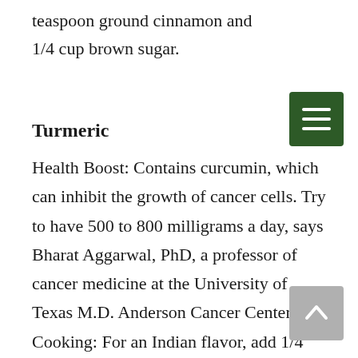teaspoon ground cinnamon and 1/4 cup brown sugar.
Turmeric
Health Boost: Contains curcumin, which can inhibit the growth of cancer cells. Try to have 500 to 800 milligrams a day, says Bharat Aggarwal, PhD, a professor of cancer medicine at the University of Texas M.D. Anderson Cancer Center. Get Cooking: For an Indian flavor, add 1/4 teaspoon turmeric to water when cooking 1 cup rice.